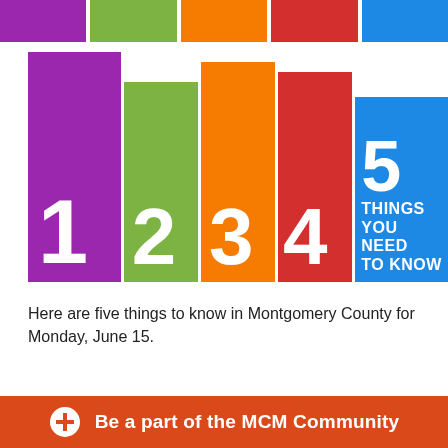[Figure (infographic): Colorful top bar with five colored rectangles: purple, green, orange, red, blue]
[Figure (infographic): Five vertical colored columns of varying heights with numbers 1-5 and text '5 THINGS YOU NEED TO KNOW']
Here are five things to know in Montgomery County for Monday, June 15.
Be a part of the MCM Community